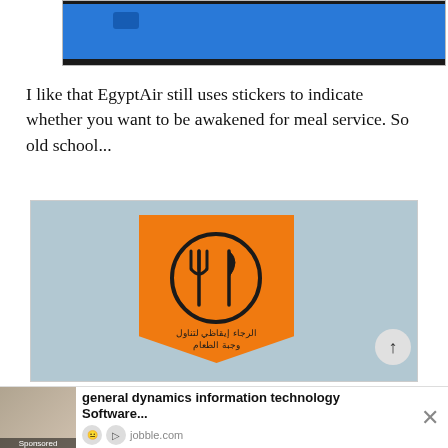[Figure (photo): Top portion of an airplane seatback entertainment screen with blue display, partially cropped.]
I like that EgyptAir still uses stickers to indicate whether you want to be awakened for meal service. So old school...
[Figure (photo): An orange meal service sticker on an airplane seat headrest. The sticker shows a fork and knife inside a circle, with Arabic text reading 'Please wake me for meal service'.]
[Figure (other): Advertisement banner: general dynamics information technology Software... jobble.com — Sponsored]